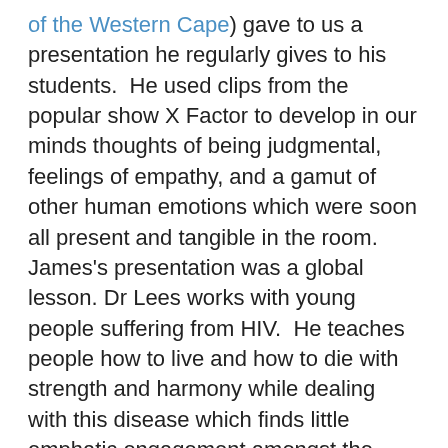of the Western Cape) gave to us a presentation he regularly gives to his students. He used clips from the popular show X Factor to develop in our minds thoughts of being judgmental, feelings of empathy, and a gamut of other human emotions which were soon all present and tangible in the room. James's presentation was a global lesson. Dr Lees works with young people suffering from HIV. He teaches people how to live and how to die with strength and harmony while dealing with this disease which finds little emphatic engagement amongst the world's nations.
His work brings understanding to forgotten people who do not have time to enjoy beautiful moons dangling on the wings of airplanes.' Walk in my shoes '  the slogan on the posters he distributed to everyone, a strong message,